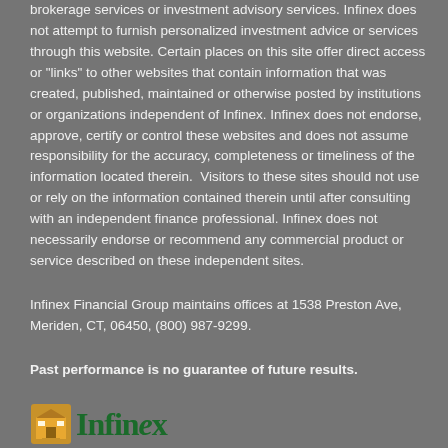brokerage services or investment advisory services. Infinex does not attempt to furnish personalized investment advice or services through this website. Certain places on this site offer direct access or "links" to other websites that contain information that was created, published, maintained or otherwise posted by institutions or organizations independent of Infinex. Infinex does not endorse, approve, certify or control these websites and does not assume responsibility for the accuracy, completeness or timeliness of the information located therein.  Visitors to these sites should not use or rely on the information contained therein until after consulting with an independent finance professional. Infinex does not necessarily endorse or recommend any commercial product or service described on these independent sites.
Infinex Financial Group maintains offices at 1538 Preston Ave, Meriden, CT, 06450, (800) 987-9299.
Past performance is no guarantee of future results.
[Figure (logo): Infinex Financial Group logo with gold/orange building icon and green Infinex text]